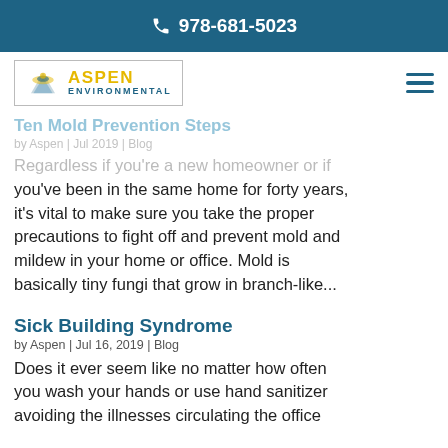978-681-5023
[Figure (logo): Aspen Environmental logo with eagle graphic, gold ASPEN text, blue ENVIRONMENTAL text, inside a bordered box]
Ten Mold Prevention Steps
by Aspen | Jul 2019 | Blog
Regardless if you're a new homeowner or if you've been in the same home for forty years, it's vital to make sure you take the proper precautions to fight off and prevent mold and mildew in your home or office. Mold is basically tiny fungi that grow in branch-like...
Sick Building Syndrome
by Aspen | Jul 16, 2019 | Blog
Does it ever seem like no matter how often you wash your hands or use hand sanitizer avoiding the illnesses circulating the office